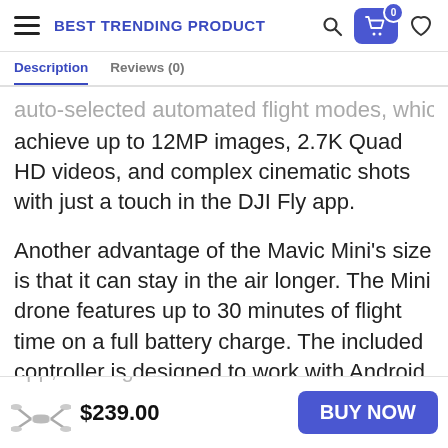BEST TRENDING PRODUCT
Description   Reviews (0)
achieve up to 12MP images, 2.7K Quad HD videos, and complex cinematic shots with just a touch in the DJI Fly app.
Another advantage of the Mavic Mini's size is that it can stay in the air longer. The Mini drone features up to 30 minutes of flight time on a full battery charge. The included controller is designed to work with Android and iOS smartphones, letting you easily fly the drone while maintaining a low-latency HD video feed from the gimbal from up to 2.5 miles away. To
$239.00
BUY NOW